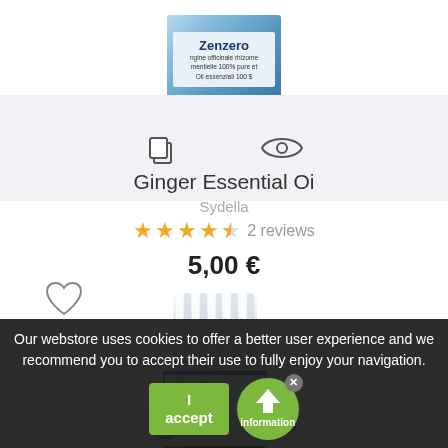[Figure (photo): Partial view of a blue essential oil bottle with white label showing partial text 'Zenzero' and 'mentielle 100% pure', 'Oli essenziali 100%']
[Figure (other): Two icons: a copy/document icon on the left and an eye icon on the right, on a light grey background]
Ginger Essential Oi
Sydella
[Figure (other): Star rating showing approximately 4.5 out of 5 stars (4 full stars and 1 half star) in yellow/orange, followed by '2 reviews' in grey]
5,00 €
[Figure (other): Heart/wishlist icon outline]
[Figure (photo): A small dark blue glass bottle with white ribbed cap and white label reading 'Giroflé' (Girofano clove essential oil)]
Our webstore uses cookies to offer a better user experience and we recommend you to accept their use to fully enjoy your navigation.
I accept
Information